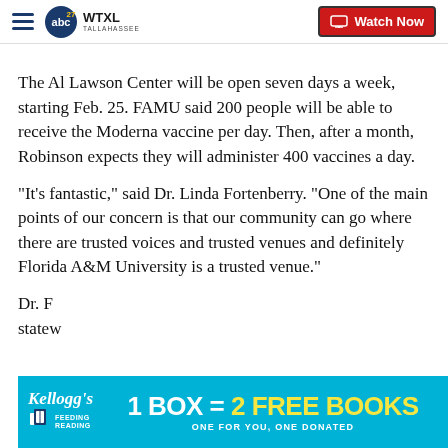WTXL TALLAHASSEE | Watch Now
The Al Lawson Center will be open seven days a week, starting Feb. 25. FAMU said 200 people will be able to receive the Moderna vaccine per day. Then, after a month, Robinson expects they will administer 400 vaccines a day.
"It's fantastic," said Dr. Linda Fortenberry. "One of the main points of our concern is that our community can go where there are trusted voices and trusted venues and definitely Florida A&M University is a trusted venue."
Dr. F... statew...
[Figure (screenshot): Kellogg's Feeding Reading advertisement banner: '1 BOX = 2 FREE BOOKS. ONE FOR YOU, ONE DONATED']